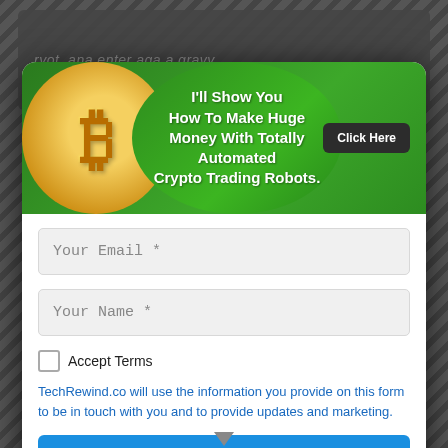[Figure (screenshot): Crypto trading robot advertisement banner with Bitcoin coin logo on green background, text reading I'll Show You How To Make Huge Money With Totally Automated Crypto Trading Robots, with Click Here button]
Your Email *
Your Name *
Accept Terms
TechRewind.co will use the information you provide on this form to be in touch with you and to provide updates and marketing.
FREE ACCESS